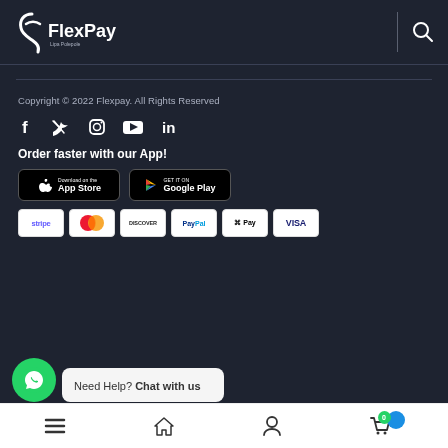FlexPay
Copyright © 2022 Flexpay. All Rights Reserved
[Figure (logo): FlexPay logo with stylized F icon and text, search icon on right]
Copyright © 2022 Flexpay. All Rights Reserved
[Figure (infographic): Social media icons: Facebook, Twitter, Instagram, YouTube, LinkedIn]
Order faster with our App!
[Figure (infographic): App Store and Google Play download buttons]
[Figure (infographic): Payment method badges: Stripe, Mastercard, Discover, PayPal, Apple Pay, Visa]
[Figure (infographic): WhatsApp chat button and popup saying Need Help? Chat with us]
Bottom navigation bar with menu, home, profile, cart icons